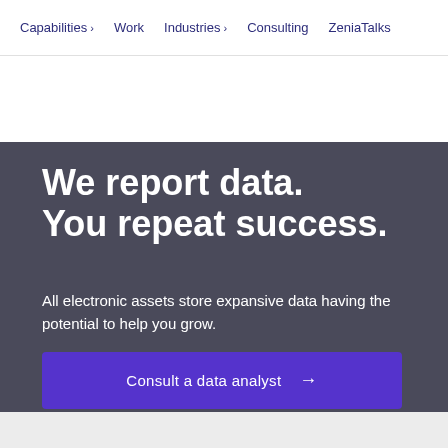Capabilities  Work  Industries  Consulting  ZeniaTalks
We report data. You repeat success.
All electronic assets store expansive data having the potential to help you grow.
Consult a data analyst →